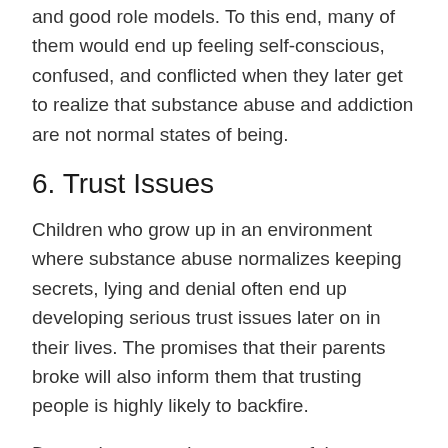and good role models. To this end, many of them would end up feeling self-conscious, confused, and conflicted when they later get to realize that substance abuse and addiction are not normal states of being.
6. Trust Issues
Children who grow up in an environment where substance abuse normalizes keeping secrets, lying and denial often end up developing serious trust issues later on in their lives. The promises that their parents broke will also inform them that trusting people is highly likely to backfire.
Due to these trust issues, most of these children lack self-esteem. Later on their adult lives, they would typically avoid getting close to anyone. If they do, there is a high risk that they will have problems in their